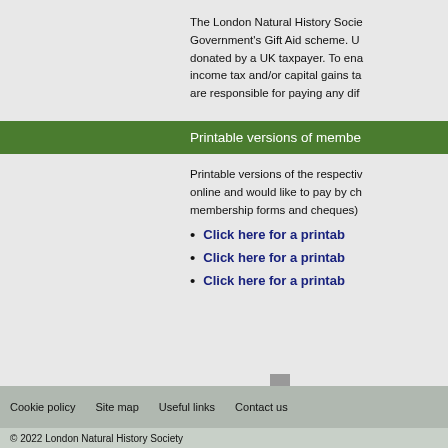The London Natural History Society is registered under the Government's Gift Aid scheme. Under this scheme, 25p can be reclaimed for every £1 donated by a UK taxpayer. To enable us to do this, you need to pay income tax and/or capital gains tax at least equal to the tax we reclaim and are responsible for paying any difference.
Printable versions of membership forms
Printable versions of the respective membership forms (if you find joining online and would like to pay by cheque, you can post the completed membership forms and cheques)
Click here for a printable...
Click here for a printable...
Click here for a printable...
Cookie policy   Site map   Useful links   Contact us
© 2022 London Natural History Society